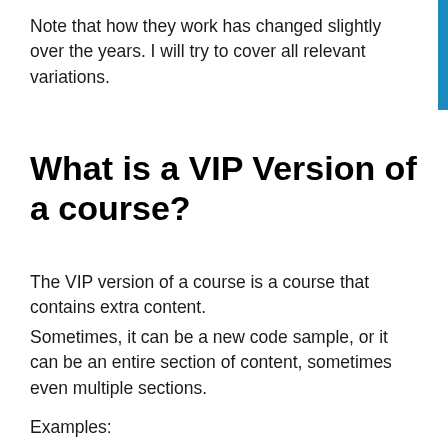Note that how they work has changed slightly over the years. I will try to cover all relevant variations.
What is a VIP Version of a course?
The VIP version of a course is a course that contains extra content.
Sometimes, it can be a new code sample, or it can be an entire section of content, sometimes even multiple sections.
Examples: